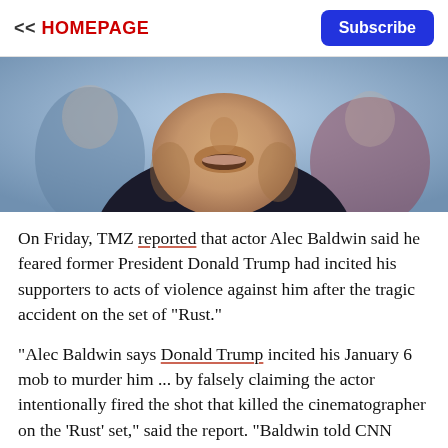<< HOMEPAGE | Subscribe
[Figure (photo): Close-up photo of Alec Baldwin's face and chin area, wearing a dark suit with white shirt, blurred background with other people]
On Friday, TMZ reported that actor Alec Baldwin said he feared former President Donald Trump had incited his supporters to acts of violence against him after the tragic accident on the set of "Rust."
"Alec Baldwin says Donald Trump incited his January 6 mob to murder him ... by falsely claiming the actor intentionally fired the shot that killed the cinematographer on the 'Rust' set," said the report. "Baldwin told CNN Trump's comment — that 'He